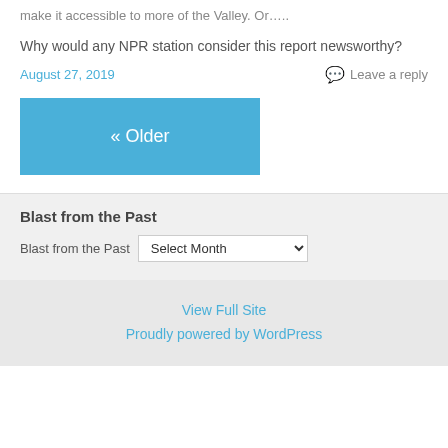make it accessible to more of the Valley. Or…..
Why would any NPR station consider this report newsworthy?
August 27, 2019   Leave a reply
« Older
Blast from the Past
Blast from the Past  Select Month
View Full Site
Proudly powered by WordPress